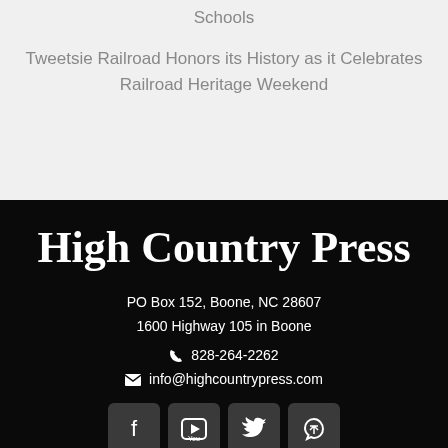Schools
Tweetsie Railroad Honors its History as it Celebrates Railroad Heritage Weekend
High Country Press
PO Box 152, Boone, NC 28607
1600 Highway 105 in Boone
828-264-2262
info@highcountrypress.com
[Figure (other): Social media icons: Facebook, YouTube, Twitter, RSS feed]